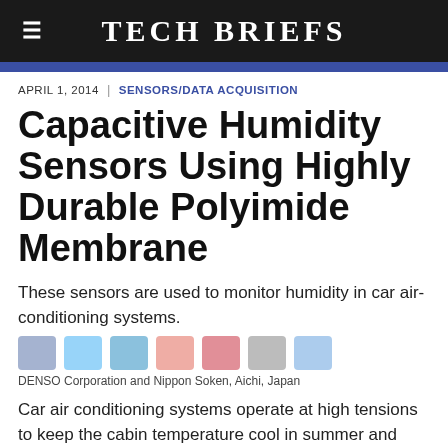Tech Briefs
APRIL 1, 2014 | SENSORS/DATA ACQUISITION
Capacitive Humidity Sensors Using Highly Durable Polyimide Membrane
These sensors are used to monitor humidity in car air-conditioning systems.
Tech Briefs Media Group websites place cookies on your device to give you the best user experience. By using our websites, you agree to the placement of these cookies. To learn more, read our  Privacy Policy.
DENSO Corporation and Nippon Soken, Aichi, Japan
Car air conditioning systems operate at high tensions to keep the cabin temperature cool in summer and warm in winter. In summer, for air conditioning systems without humidity sensors, the system